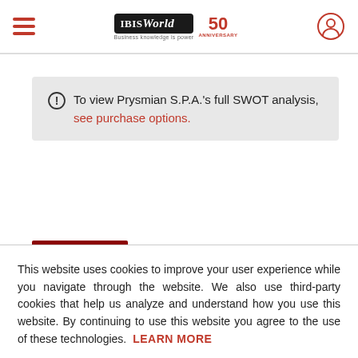IBISWorld 50th Anniversary
To view Prysmian S.P.A.'s full SWOT analysis, see purchase options.
This website uses cookies to improve your user experience while you navigate through the website. We also use third-party cookies that help us analyze and understand how you use this website. By continuing to use this website you agree to the use of these technologies. LEARN MORE
ACCEPT